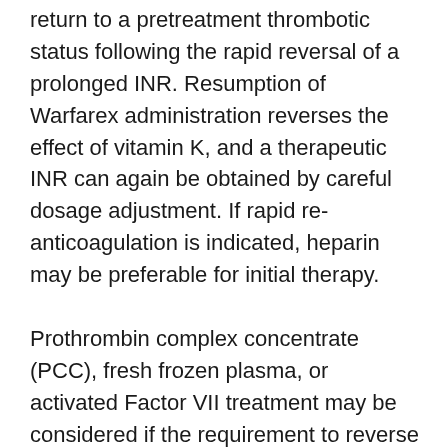return to a pretreatment thrombotic status following the rapid reversal of a prolonged INR. Resumption of Warfarex administration reverses the effect of vitamin K, and a therapeutic INR can again be obtained by careful dosage adjustment. If rapid re-anticoagulation is indicated, heparin may be preferable for initial therapy. Prothrombin complex concentrate (PCC), fresh frozen plasma, or activated Factor VII treatment may be considered if the requirement to reverse the effects of Warfarex is urgent. A risk of hepatitis and other viral diseases is associated with the use of blood products; PCC and activated Factor VII are also associated with an increased risk of thrombosis. Therefore, these preparations should be used only in exceptional or life-